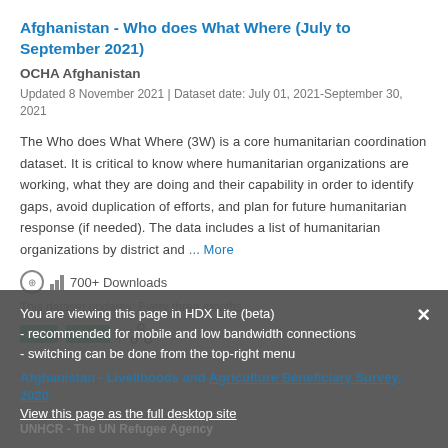Afghanistan - Who does What Where (July to September 2021)
OCHA Afghanistan
Updated 8 November 2021 | Dataset date: July 01, 2021-September 30, 2021
The Who does What Where (3W) is a core humanitarian coordination dataset. It is critical to know where humanitarian organizations are working, what they are doing and their capability in order to identify gaps, avoid duplication of efforts, and plan for future humanitarian response (if needed). The data includes a list of humanitarian organizations by district and ... More
700+ Downloads
This dataset updates: Every three months
CSV  XLSX
You are viewing this page in HDX Lite (beta) - recommended for mobile and low bandwidth connections - switching can be done from the top-right menu
View this page as the full desktop site
Afghanistan - Livelihoods and Agriculture Beneficiary Survey, 2020
UNHCR - The UN Refugee Agency